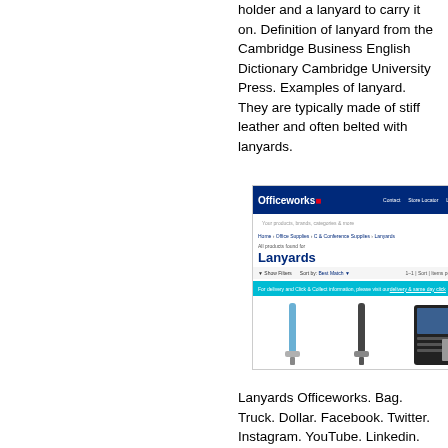holder and a lanyard to carry it on. Definition of lanyard from the Cambridge Business English Dictionary Cambridge University Press. Examples of lanyard. They are typically made of stiff leather and often belted with lanyards.
[Figure (screenshot): Screenshot of the Officeworks website showing a search results page for 'Lanyards', with the Officeworks header, navigation, breadcrumb trail, page title 'Lanyards', filter/sort bar, an information banner, and product thumbnails showing lanyard products.]
Lanyards Officeworks. Bag. Truck. Dollar. Facebook. Twitter. Instagram. YouTube. Linkedin. Keep me up to date on the latest products, eCatalogues, inspiration and more. Your safety and satisfaction is our priority. Visit the